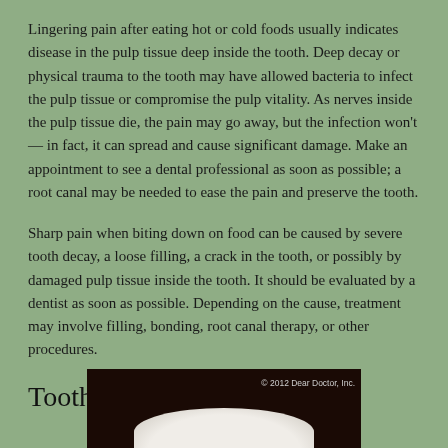Lingering pain after eating hot or cold foods usually indicates disease in the pulp tissue deep inside the tooth. Deep decay or physical trauma to the tooth may have allowed bacteria to infect the pulp tissue or compromise the pulp vitality. As nerves inside the pulp tissue die, the pain may go away, but the infection won't — in fact, it can spread and cause significant damage. Make an appointment to see a dental professional as soon as possible; a root canal may be needed to ease the pain and preserve the tooth.
Sharp pain when biting down on food can be caused by severe tooth decay, a loose filling, a crack in the tooth, or possibly by damaged pulp tissue inside the tooth. It should be evaluated by a dentist as soon as possible. Depending on the cause, treatment may involve filling, bonding, root canal therapy, or other procedures.
Toothache
[Figure (photo): Dark background photo of teeth with copyright notice '© 2012 Dear Doctor, Inc.' overlaid in the upper right corner of the image.]